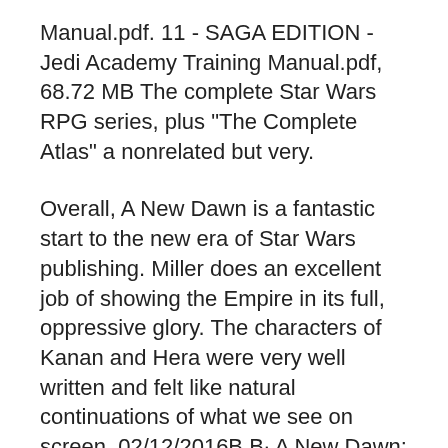Manual.pdf. 11 - SAGA EDITION - Jedi Academy Training Manual.pdf, 68.72 MB The complete Star Wars RPG series, plus "The Complete Atlas" a nonrelated but very.
Overall, A New Dawn is a fantastic start to the new era of Star Wars publishing. Miller does an excellent job of showing the Empire in its full, oppressive glory. The characters of Kanan and Hera were very well written and felt like natural continuations of what we see on screen. 02/12/2016B B· A New Dawn: Star Wars - Kindle edition by John Jackson Miller, Dave Filoni. Download it once and read it on your Kindle device, PC, phones or tablets. Use features like bookmarks